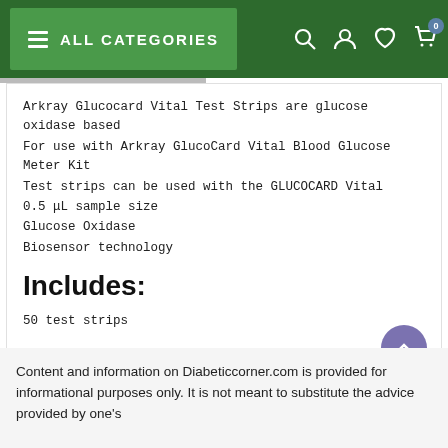ALL CATEGORIES
Arkray Glucocard Vital Test Strips are glucose oxidase based
For use with Arkray GlucoCard Vital Blood Glucose Meter Kit
Test strips can be used with the GLUCOCARD Vital
0.5 μL sample size
Glucose Oxidase
Biosensor technology
Includes:
50 test strips
Content and information on Diabeticcorner.com is provided for informational purposes only. It is not meant to substitute the advice provided by one's